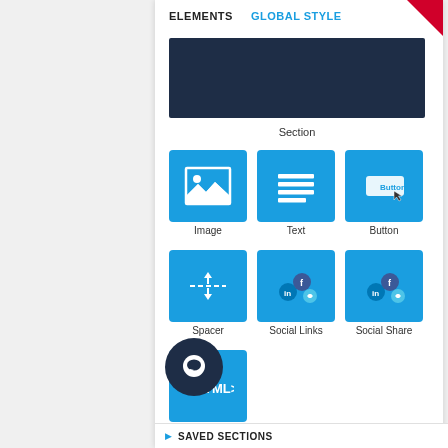ELEMENTS    GLOBAL STYLE
[Figure (screenshot): Dark navy blue rectangle representing a Section element block]
Section
[Figure (infographic): Grid of UI element icons: Image, Text, Button (row 1), Spacer, Social Links, Social Share (row 2), HTML (row 3)]
[Figure (infographic): Dark circular chat button with speech bubble icon at bottom left]
SAVED SECTIONS